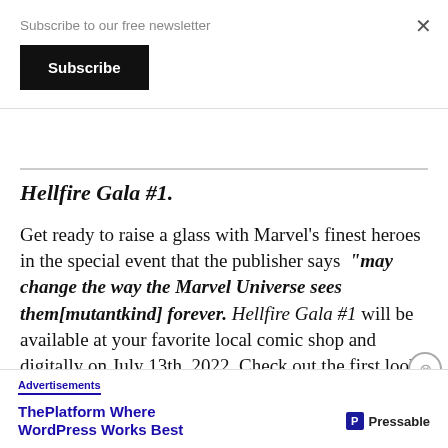Subscribe to our free newsletter
Subscribe
Hellfire Gala #1.
Get ready to raise a glass with Marvel's finest heroes in the special event that the publisher says “may change the way the Marvel Universe sees them[mutantkind] forever. Hellfire Gala #1 will be available at your favorite local comic shop and digitally on July 13th, 2022. Check out the first look preview
Advertisements
ThePlatform Where WordPress Works Best
Pressable